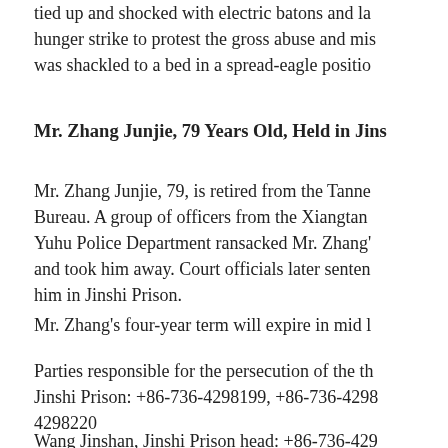tied up and shocked with electric batons and la hunger strike to protest the gross abuse and mis was shackled to a bed in a spread-eagle positio
Mr. Zhang Junjie, 79 Years Old, Held in Jins
Mr. Zhang Junjie, 79, is retired from the Tanne Bureau. A group of officers from the Xiangtan Yuhu Police Department ransacked Mr. Zhang' and took him away. Court officials later senten him in Jinshi Prison.
Mr. Zhang's four-year term will expire in mid l
Parties responsible for the persecution of the th Jinshi Prison: +86-736-4298199, +86-736-429 4298220
Wang Jinshan, Jinshi Prison head: +86-736-429